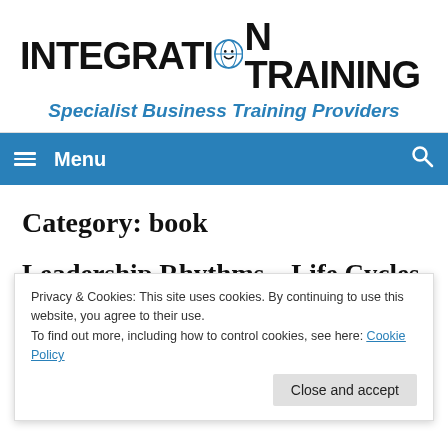[Figure (logo): Integration Training logo with stylized smiley face replacing the O in INTEGRATION]
Specialist Business Training Providers
Menu
Category: book
Leadership Rhythms – Life Cycles
Extract from the upcoming book The Body and Leadership. .................. "To everything there is a season... a time to be born and a time to die, a time to plant and...
Privacy & Cookies: This site uses cookies. By continuing to use this website, you agree to their use. To find out more, including how to control cookies, see here: Cookie Policy Close and accept